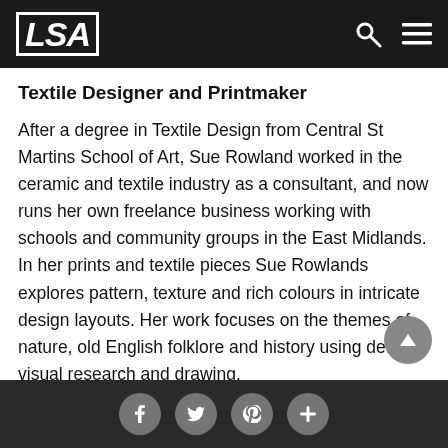LSA
Textile Designer and Printmaker
After a degree in Textile Design from Central St Martins School of Art, Sue Rowland worked in the ceramic and textile industry as a consultant, and now runs her own freelance business working with schools and community groups in the East Midlands. In her prints and textile pieces Sue Rowlands explores pattern, texture and rich colours in intricate design layouts. Her work focuses on the themes of nature, old English folklore and history using detailed visual research and drawing.
f t p +